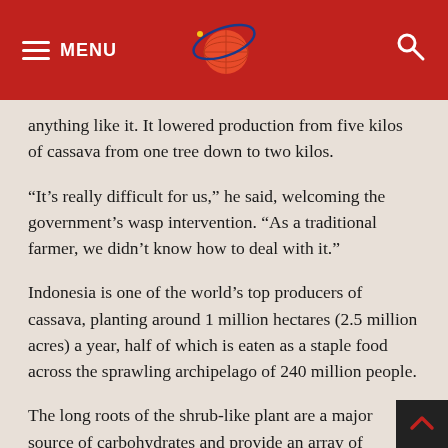MENU [logo] [search]
anything like it. It lowered production from five kilos of cassava from one tree down to two kilos.
“It’s really difficult for us,” he said, welcoming the government’s wasp intervention. “As a traditional farmer, we didn’t know how to deal with it.”
Indonesia is one of the world’s top producers of cassava, planting around 1 million hectares (2.5 million acres) a year, half of which is eaten as a staple food across the sprawling archipelago of 240 million people.
The long roots of the shrub-like plant are a major source of carbohydrates and provide an array of nutrients. Like the potato, cassava is a versatile starch that’s an essential part of daily meals across much of the developing world. In